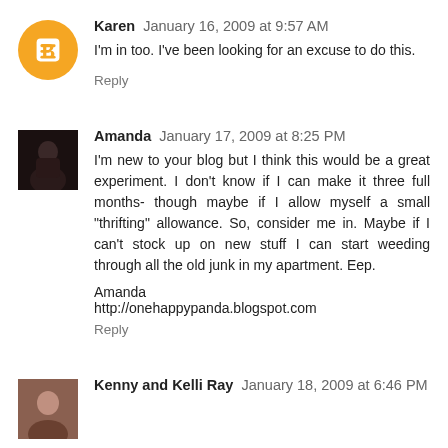Karen January 16, 2009 at 9:57 AM
I'm in too. I've been looking for an excuse to do this.
Reply
Amanda January 17, 2009 at 8:25 PM
I'm new to your blog but I think this would be a great experiment. I don't know if I can make it three full months- though maybe if I allow myself a small "thrifting" allowance. So, consider me in. Maybe if I can't stock up on new stuff I can start weeding through all the old junk in my apartment. Eep.
Amanda
http://onehappypanda.blogspot.com
Reply
Kenny and Kelli Ray January 18, 2009 at 6:46 PM